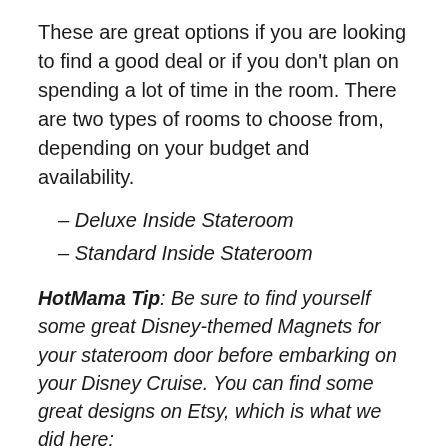These are great options if you are looking to find a good deal or if you don't plan on spending a lot of time in the room. There are two types of rooms to choose from, depending on your budget and availability.
– Deluxe Inside Stateroom
– Standard Inside Stateroom
HotMama Tip: Be sure to find yourself some great Disney-themed Magnets for your stateroom door before embarking on your Disney Cruise. You can find some great designs on Etsy, which is what we did here: